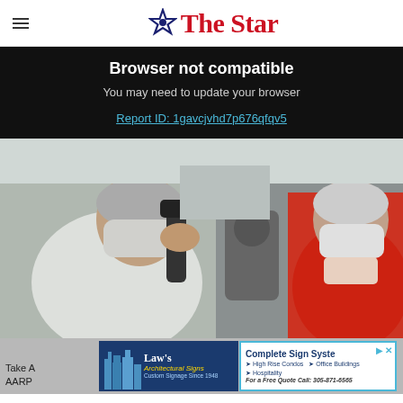The Star
Browser not compatible
You may need to update your browser
Report ID: 1gavcjvhd7p676qfqv5
[Figure (photo): Doctor wearing white lab coat and face mask using an ophthalmoscope to examine an elderly female patient who is also wearing a face mask, in a clinical setting.]
Take A
AARP
[Figure (other): Law's Architectural Signs advertisement with city buildings silhouette. Text: Law's Architectural Signs, Custom Signage Since 1948]
[Figure (other): Complete Sign Systems advertisement. Text: Complete Sign Systems, High Rise Condos, Office Buildings, Hospitality. For a Free Quote Call: 305-871-6565]